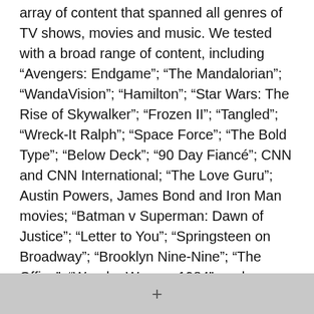array of content that spanned all genres of TV shows, movies and music. We tested with a broad range of content, including “Avengers: Endgame”; “The Mandalorian”; “WandaVision”; “Hamilton”; “Star Wars: The Rise of Skywalker”; “Frozen II”; “Tangled”; “Wreck-It Ralph”; “Space Force”; “The Bold Type”; “Below Deck”; “90 Day Fiancé”; CNN and CNN International; “The Love Guru”; Austin Powers, James Bond and Iron Man movies; “Batman v Superman: Dawn of Justice”; “Letter to You”; “Springsteen on Broadway”; “Brooklyn Nine-Nine”; “The Office”; “Wonder Woman 1984”; and countless others. We analyzed the sound via histogram and with measuring volumes that the soundbar could
+